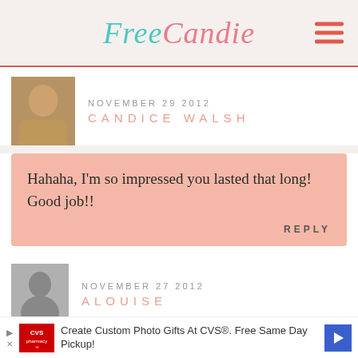FreeCandie
NOVEMBER 29 2012
CANDICE WALSH
Hahaha, I'm so impressed you lasted that long! Good job!!
REPLY
NOVEMBER 27 2012
ALOUISE
Congratulations. Getting any debt off
Create Custom Photo Gifts At CVS®. Free Same Day Pickup!